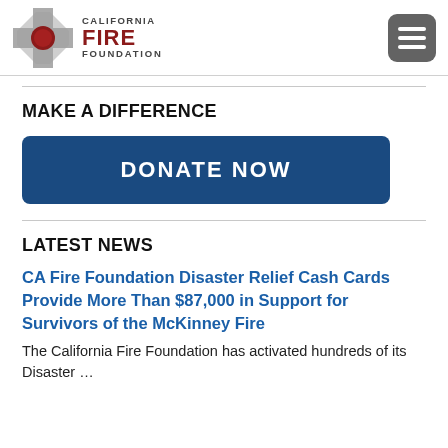[Figure (logo): California Fire Foundation logo: firefighter badge emblem with red circle center in grey/silver shield, with text 'CALIFORNIA FIRE FOUNDATION' in dark red/maroon]
[Figure (other): Hamburger menu icon: grey rounded square with three white horizontal bars]
MAKE A DIFFERENCE
[Figure (other): Dark blue rounded rectangle button with bold white uppercase text 'DONATE NOW']
LATEST NEWS
CA Fire Foundation Disaster Relief Cash Cards Provide More Than $87,000 in Support for Survivors of the McKinney Fire
The California Fire Foundation has activated hundreds of its Disaster …